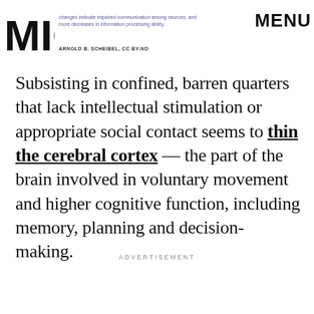MIC | MENU
changes indicate impaired communication among neurons, and more decreases in information processing ability.
ARNOLD B. SCHEIBEL, CC BY-ND
Subsisting in confined, barren quarters that lack intellectual stimulation or appropriate social contact seems to thin the cerebral cortex — the part of the brain involved in voluntary movement and higher cognitive function, including memory, planning and decision-making.
ADVERTISEMENT